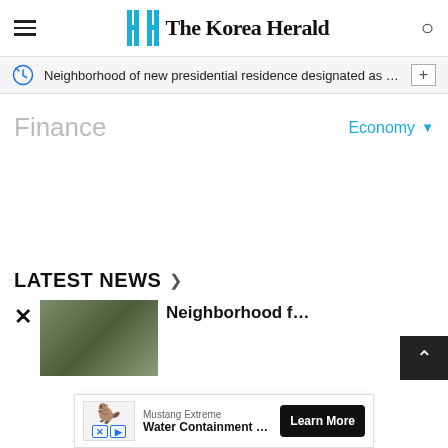The Korea Herald
Neighborhood of new presidential residence designated as milita…
Finance
Economy
LATEST NEWS
Neighborhood f…
Mustang Extreme Water Containment Liners